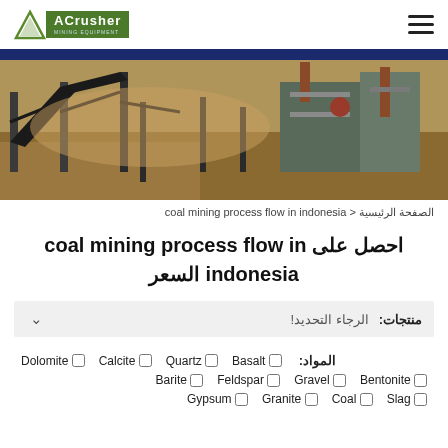ACrusher Mining Equipment
[Figure (photo): Industrial mining/crushing equipment with conveyor belts and heavy machinery at a quarry site]
الصفحة الرئيسية < coal mining process flow in indonesia
احصل على coal mining process flow in indonesia السعر
منتجات: الرجاء التحديد!
المواد: Dolomite □ Calcite □ Quartz □ Basalt □ Barite □ Feldspar □ Gravel □ Bentonite □ Gypsum □ Granite □ Coal □ Slag □